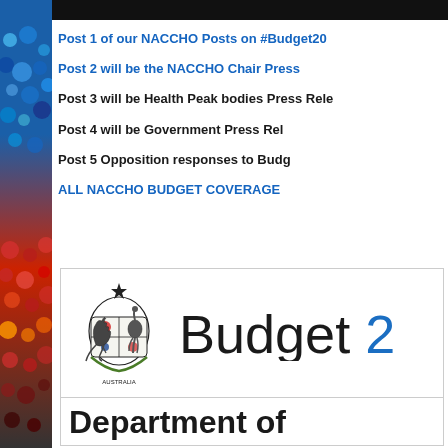[Figure (illustration): Dark top image bar]
Post 1 of our NACCHO Posts on #Budget20
Post 2 will be the NACCHO Chair Press
Post 3 will be Health Peak bodies Press Rele
Post 4 will be Government Press Rel
Post 5 Opposition responses to Budg
ALL NACCHO BUDGET COVERAGE
[Figure (logo): Australian Government Budget logo with coat of arms and 'Budget 2' text, followed by Department of section]